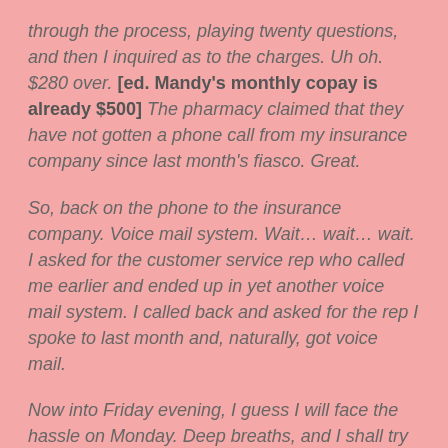through the process, playing twenty questions, and then I inquired as to the charges. Uh oh. $280 over. [ed. Mandy's monthly copay is already $500] The pharmacy claimed that they have not gotten a phone call from my insurance company since last month's fiasco. Great.
So, back on the phone to the insurance company. Voice mail system. Wait… wait… wait. I asked for the customer service rep who called me earlier and ended up in yet another voice mail system. I called back and asked for the rep I spoke to last month and, naturally, got voice mail.
Now into Friday evening, I guess I will face the hassle on Monday. Deep breaths, and I shall try not to loose my grip.
Oh, what a pleasure it would be to inform the insurance company that they do not meet my standards and I will bring my business elsewhere! Oh, yeah. I can't. This is the only